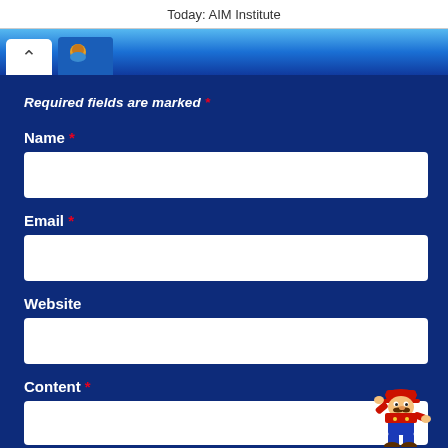Today: AIM Institute
Required fields are marked *
Name *
Email *
Website
Content *
[Figure (illustration): Mario character illustration in red hat and blue overalls, jumping pose, in bottom-right corner]